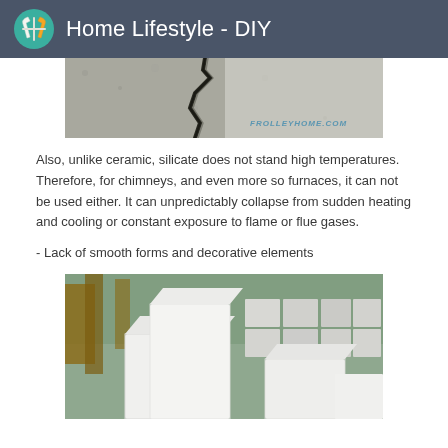Home Lifestyle - DIY
[Figure (photo): Close-up of cracked gray concrete or masonry surface with a large crack running diagonally, watermark text 'FROLLEYHOME.COM' visible]
Also, unlike ceramic, silicate does not stand high temperatures. Therefore, for chimneys, and even more so furnaces, it can not be used either. It can unpredictably collapse from sudden heating and cooling or constant exposure to flame or flue gases.
- Lack of smooth forms and decorative elements
[Figure (photo): White silicate or aerated concrete blocks stacked outdoors, showing multiple large rectangular blocks in a construction yard or factory setting]